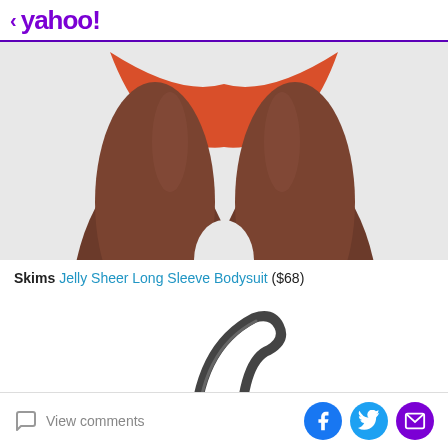< yahoo!
[Figure (photo): Close-up photo of a model wearing a red/orange thong bodysuit, showing legs and lower torso against a light gray background.]
Skims Jelly Sheer Long Sleeve Bodysuit ($68)
[Figure (photo): Product photo of a black and silver kitchen faucet with a curved neck, shown against a white background.]
View comments